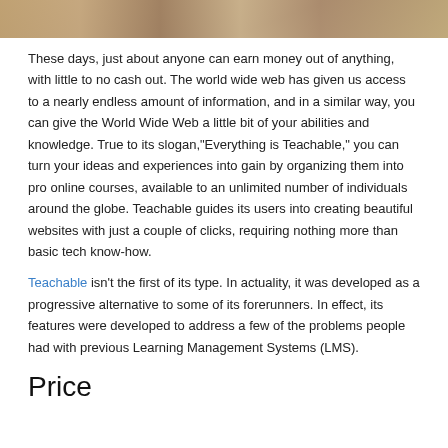[Figure (photo): Top portion of a photo showing what appears to be people or a classroom scene, cropped at the top of the page.]
These days, just about anyone can earn money out of anything, with little to no cash out. The world wide web has given us access to a nearly endless amount of information, and in a similar way, you can give the World Wide Web a little bit of your abilities and knowledge. True to its slogan,"Everything is Teachable," you can turn your ideas and experiences into gain by organizing them into pro online courses, available to an unlimited number of individuals around the globe. Teachable guides its users into creating beautiful websites with just a couple of clicks, requiring nothing more than basic tech know-how.
Teachable isn't the first of its type. In actuality, it was developed as a progressive alternative to some of its forerunners. In effect, its features were developed to address a few of the problems people had with previous Learning Management Systems (LMS).
Price